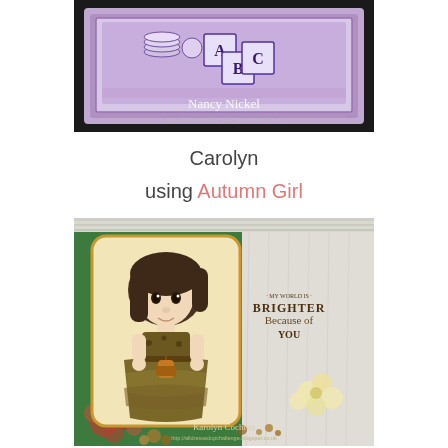[Figure (photo): Handmade craft card with purple/mauve background featuring alphabet blocks (A, B, C) and circular shapes, with script signature and blog URL on black background]
Carolyn
using Autumn Girl
[Figure (photo): Handmade craft card featuring an illustrated autumn girl character in brown/gold dress on cream card with rounded corners, displayed on green background with floral embellishments and wood-grain paper. Text reads 'My world is Brighter Because of You'. Script signature and blog URL visible at bottom.]